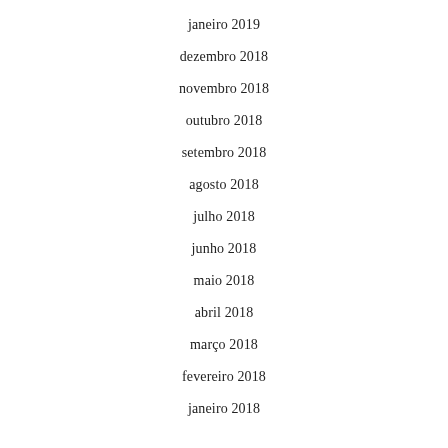janeiro 2019
dezembro 2018
novembro 2018
outubro 2018
setembro 2018
agosto 2018
julho 2018
junho 2018
maio 2018
abril 2018
março 2018
fevereiro 2018
janeiro 2018